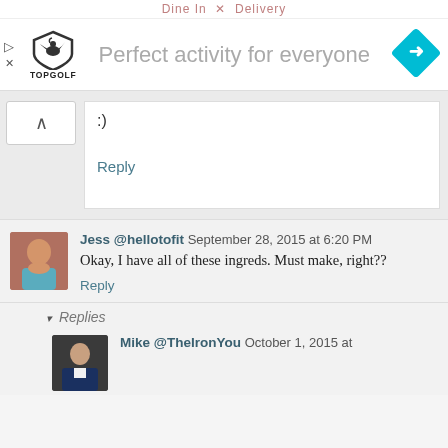Dine In  Delivery
[Figure (logo): Topgolf logo with shield icon and text TOPGOLF]
Perfect activity for everyone
[Figure (other): Blue diamond-shaped navigation/direction icon with right arrow]
:)
Reply
[Figure (photo): Avatar photo of Jess, a woman]
Jess @hellotofit September 28, 2015 at 6:20 PM
Okay, I have all of these ingreds. Must make, right??
Reply
▾ Replies
[Figure (photo): Avatar photo of Mike, a man in suit]
Mike @TheIronYou   October 1, 2015 at